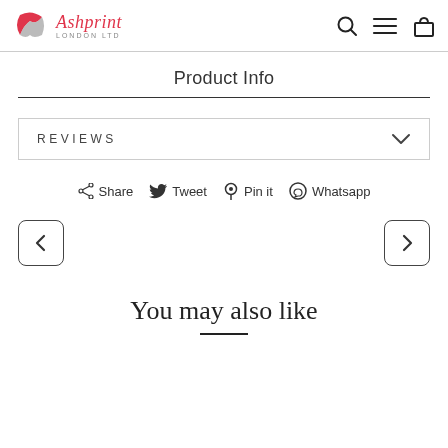Ashprint London Ltd
Product Info
REVIEWS
Share  Tweet  Pin it  Whatsapp
You may also like